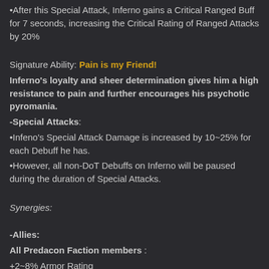•After this Special Attack, Inferno gains a Critical Ranged Buff for 7 seconds, increasing the Critical Rating of Ranged Attacks by 20%
Signature Ability: Pain is my Friend!
Inferno's loyalty and sheer determination gives him a high resistance to pain and further encourages his psychotic pyromania.
-Special Attacks:
•Infeno's Special Attack Damage is increased by 10~25% for each Debuff he has.
•However, all non-DoT Debuffs on Inferno will be paused during the duration of Special Attacks.
Synergies:
-Allies:
All Predacon Faction members :
+2~8% Armor Rating
-Enemies:
All Maximal Faction members:
+2~8% Attack Rating